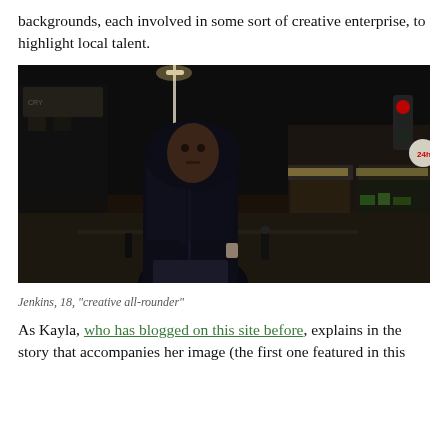backgrounds, each involved in some sort of creative enterprise, to highlight local talent.
[Figure (photo): Young man in a dark hoodie and jacket standing on a night street with shops and street lights in the background.]
Jenkins, 18, "creative all-rounder"
As Kayla, who has blogged on this site before, explains in the story that accompanies her image (the first one featured in this post): "People feel like they can say discriminatory and derogatory...